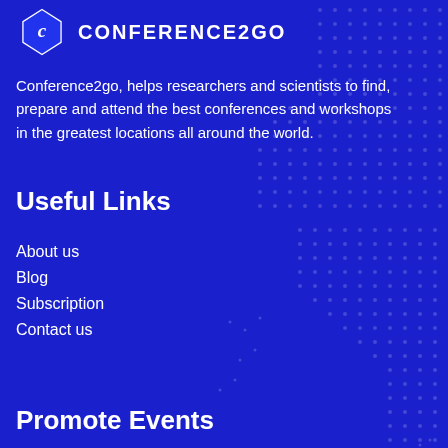[Figure (logo): Conference2go logo with a blue diamond/bookmark shape containing the letter C, and the text CONFERENCE2GO in white capitals]
Conference2go, helps researchers and scientists to find, prepare and attend the best conferences and workshops in the greatest locations all around the world.
Useful Links
About us
Blog
Subscription
Contact us
Promote Events